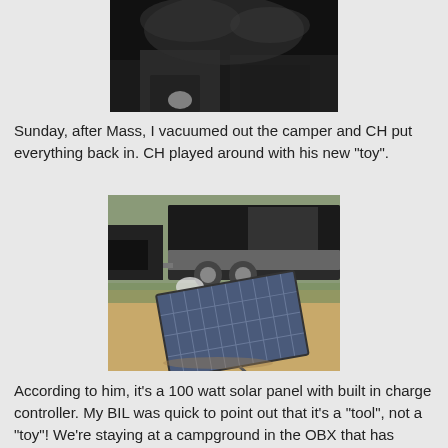[Figure (photo): Dark outdoor nighttime photo showing a camper/trailer in the background]
Sunday, after Mass, I vacuumed out the camper and CH put everything back in. CH played around with his new "toy".
[Figure (photo): Photo of a portable 100 watt solar panel propped up on grass outdoors, with a camper trailer visible in the background]
According to him, it's a 100 watt solar panel with built in charge controller. My BIL was quick to point out that it's a "tool", not a "toy"! We're staying at a campground in the OBX that has electricity, but it will be a good time to try it out to see just how it works. That way, when we're in a